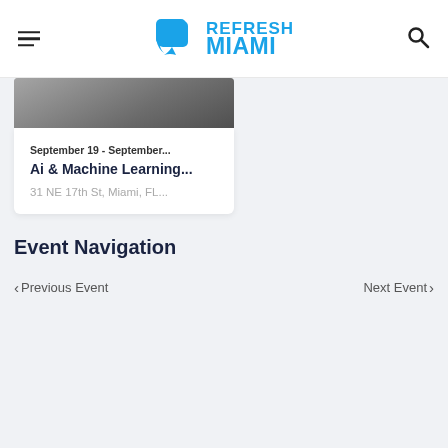Refresh Miami
[Figure (screenshot): Partial image visible at top of event card]
September 19  - September...
Ai & Machine Learning...
31 NE 17th St, Miami, FL...
Event Navigation
< Previous Event
Next Event >